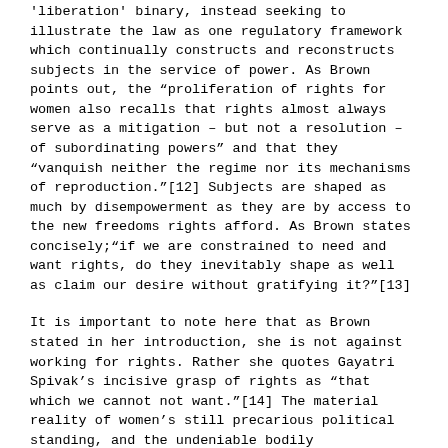'liberation' binary, instead seeking to illustrate the law as one regulatory framework which continually constructs and reconstructs subjects in the service of power. As Brown points out, the "proliferation of rights for women also recalls that rights almost always serve as a mitigation – but not a resolution – of subordinating powers" and that they "vanquish neither the regime nor its mechanisms of reproduction."[12] Subjects are shaped as much by disempowerment as they are by access to the new freedoms rights afford. As Brown states concisely;"if we are constrained to need and want rights, do they inevitably shape as well as claim our desire without gratifying it?"[13]
It is important to note here that as Brown stated in her introduction, she is not against working for rights. Rather she quotes Gayatri Spivak's incisive grasp of rights as "that which we cannot not want."[14] The material reality of women's still precarious political standing, and the undeniable bodily consequences of the loss of such freedoms, requires the continual maintenance of legally recognized rights; in opposition to appeals solely for direct action, as is argued within Autonomous thought. This creates the paradox Brown outlines; a tension between rights as political citizenship, the way in which "new groups can enter into the discourse of American politics with the expectation that they